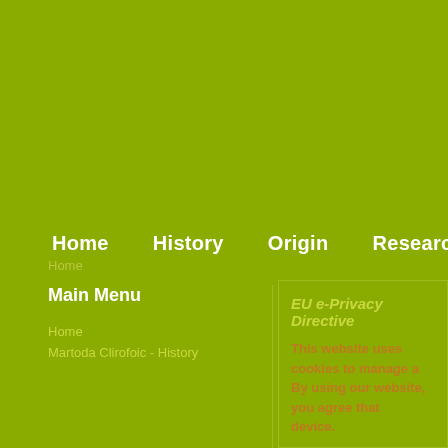Home   History   Origin   Research
Home
Main Menu
Home
Martoda Clirofoic - History
EU e-Privacy Directive
This website uses cookies to manage a... By using our website, you agree that... device.